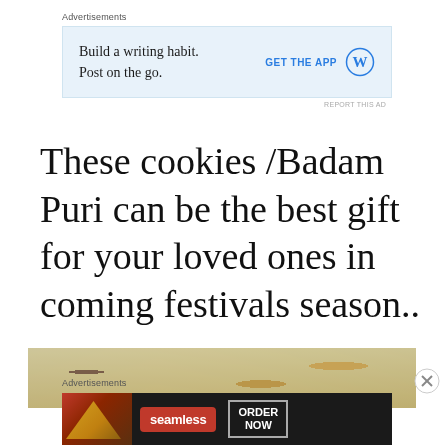Advertisements
[Figure (screenshot): Wordpress app advertisement: 'Build a writing habit. Post on the go.' with GET THE APP button and WordPress logo on light blue background]
REPORT THIS AD
These cookies /Badam Puri can be the best gift for your loved ones in coming festivals season..
[Figure (photo): Partially visible food photograph showing baked goods or cookies]
Advertisements
[Figure (screenshot): Seamless food delivery advertisement with pizza image, seamless logo and ORDER NOW button on dark background]
REPORT THIS AD